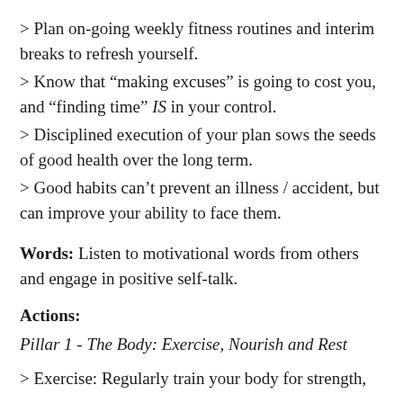> Plan on-going weekly fitness routines and interim breaks to refresh yourself.
> Know that “making excuses” is going to cost you, and “finding time” IS in your control.
> Disciplined execution of your plan sows the seeds of good health over the long term.
> Good habits can’t prevent an illness / accident, but can improve your ability to face them.
Words: Listen to motivational words from others and engage in positive self-talk.
Actions:
Pillar 1 - The Body: Exercise, Nourish and Rest
> Exercise: Regularly train your body for strength,